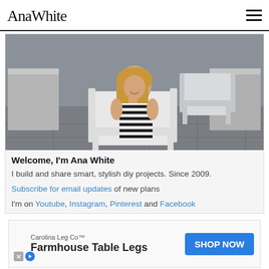AnaWhite
[Figure (photo): Woman with long blonde hair sitting in a white modern outdoor chair on a patio, with another white chair visible. Background shows a grey wall and stone planters. She is wearing a black and white striped outfit.]
Welcome, I'm Ana White
I build and share smart, stylish diy projects. Since 2009.
Subscribe for email updates of new plans
I'm on Youtube, Instagram, Pinterest and Facebook
[Figure (infographic): Advertisement banner: Carolina Leg Co™ — Farmhouse Table Legs — SHOP NOW button]